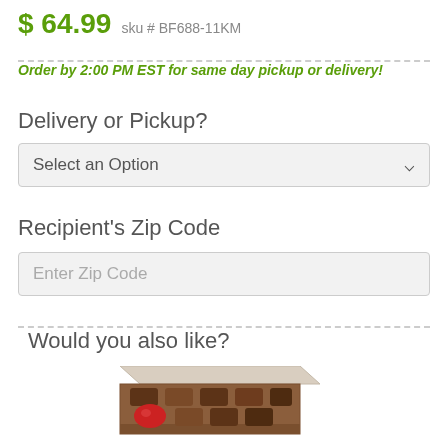$ 64.99  sku # BF688-11KM
Order by 2:00 PM EST for same day pickup or delivery!
Delivery or Pickup?
Select an Option
Recipient's Zip Code
Enter Zip Code
Would you also like?
[Figure (photo): A box of assorted chocolates partially open, showing chocolates including a red heart-shaped chocolate piece.]